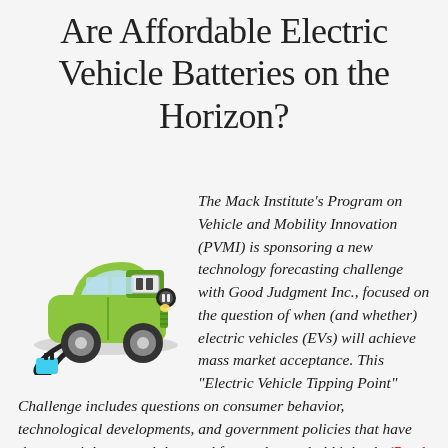Are Affordable Electric Vehicle Batteries on the Horizon?
[Figure (illustration): Illustration of a green electric car with a charging plug/cable, shown from the side with the hood open revealing a battery.]
The Mack Institute's Program on Vehicle and Mobility Innovation (PVMI) is sponsoring a new technology forecasting challenge with Good Judgment Inc., focused on the question of when (and whether) electric vehicles (EVs) will achieve mass market acceptance. This "Electric Vehicle Tipping Point" Challenge includes questions on consumer behavior, technological developments, and government policies that have the potential to propel the trend forward — or hold it back. (Read more about the Challenge and how to